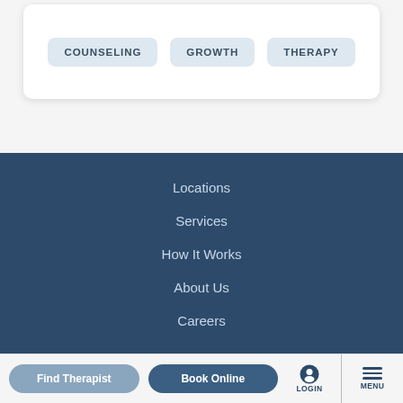COUNSELING
GROWTH
THERAPY
Locations
Services
How It Works
About Us
Careers
Find Therapist | Book Online | LOGIN | MENU